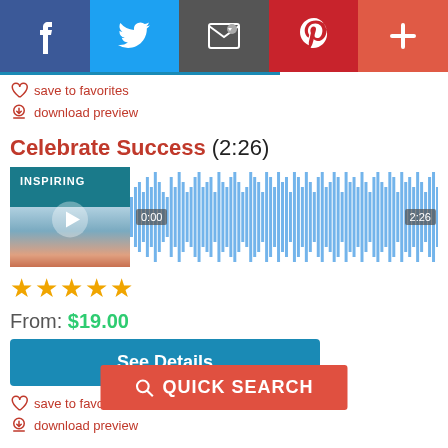[Figure (screenshot): Social media sharing bar with Facebook, Twitter, Email, Pinterest, and plus buttons]
save to favorites
download preview
Celebrate Success (2:26)
[Figure (other): Audio player with thumbnail image labeled INSPIRING and waveform display showing timestamps 0:00 and 2:26]
★★★★★
From: $19.00
See Details
save to favorites
download preview
QUICK SEARCH